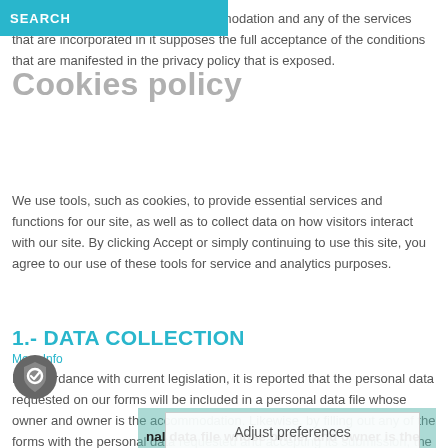SEARCH
Cookies policy
The use of the website of the accommodation and any of the services that are incorporated in it supposes the full acceptance of the conditions that are manifested in the privacy policy that is exposed.
We use tools, such as cookies, to provide essential services and functions for our site, as well as to collect data on how visitors interact with our site. By clicking Accept or simply continuing to use this site, you agree to our use of these tools for service and analytics purposes.
1.- DATA COLLECTION
More Info
In accordance with current legislation, it is reported that the personal data requested on our forms will be included in a personal data file whose owner and owner is the accommodation. Likewise, by filling out any of the forms with the personal data requested and accepting its submission, the accommodation is expressly authorized to process or incorporate into its automated files the personal data provided through the aforementioned forms, as well as all the data generated in connection with your participation or use of the different services offered on this website